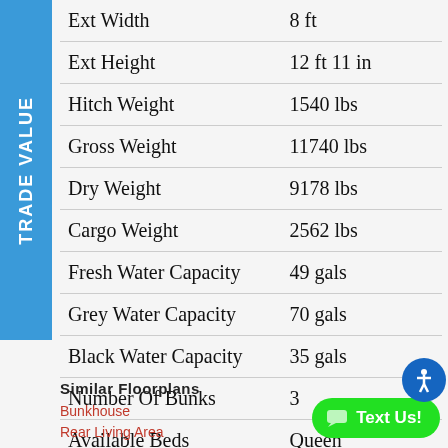| Specification | Value |
| --- | --- |
| Ext Width | 8 ft |
| Ext Height | 12 ft 11 in |
| Hitch Weight | 1540 lbs |
| Gross Weight | 11740 lbs |
| Dry Weight | 9178 lbs |
| Cargo Weight | 2562 lbs |
| Fresh Water Capacity | 49 gals |
| Grey Water Capacity | 70 gals |
| Black Water Capacity | 35 gals |
| Number Of Bunks | 3 |
| Available Beds | Queen |
Similar Floorplans
Bunkhouse
Rear Living Area